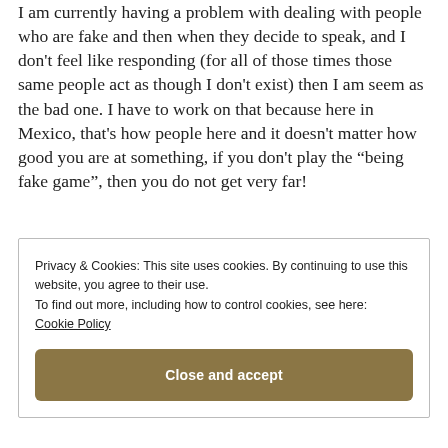I am currently having a problem with dealing with people who are fake and then when they decide to speak, and I don't feel like responding (for all of those times those same people act as though I don't exist) then I am seem as the bad one. I have to work on that because here in Mexico, that's how people here and it doesn't matter how good you are at something, if you don't play the “being fake game”, then you do not get very far!
Privacy & Cookies: This site uses cookies. By continuing to use this website, you agree to their use.
To find out more, including how to control cookies, see here:
Cookie Policy
Close and accept